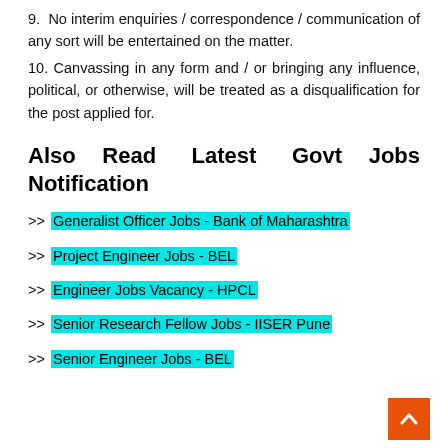9. No interim enquiries / correspondence / communication of any sort will be entertained on the matter.
10. Canvassing in any form and / or bringing any influence, political, or otherwise, will be treated as a disqualification for the post applied for.
Also Read Latest Govt Jobs Notification
>> Generalist Officer Jobs - Bank of Maharashtra
>> Project Engineer Jobs - BEL
>> Engineer Jobs Vacancy - HPCL
>> Senior Research Fellow Jobs - IISER Pune
>> Senior Engineer Jobs - BEL